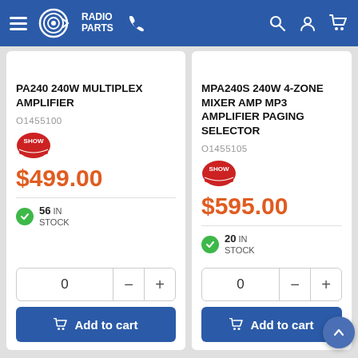Radio Parts
PA240 240W MULTIPLEX AMPLIFIER
01455100
$499.00
56 IN STOCK
MPA240S 240W 4-ZONE MIXER AMP MP3 AMPLIFIER PAGING SELECTOR
01455105
$595.00
20 IN STOCK